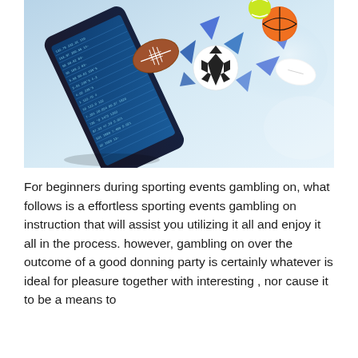[Figure (illustration): A smartphone with sports betting data on its screen, with various sports balls (football, soccer ball, basketball, tennis ball, rugby ball) bursting out of the screen against a light blue background with geometric shards.]
For beginners during sporting events gambling on, what follows is a effortless sporting events gambling on instruction that will assist you utilizing it all and enjoy it all in the process. however, gambling on over the outcome of a good donning party is certainly whatever is ideal for pleasure together with interesting , nor cause it to be a means to